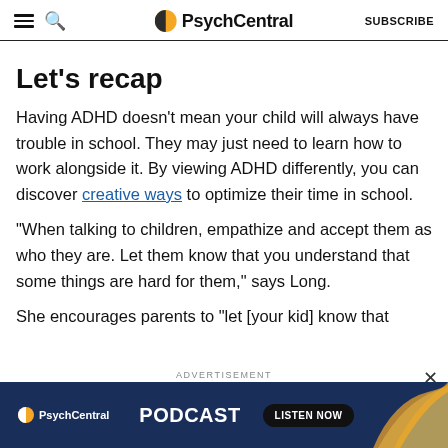PsychCentral  SUBSCRIBE
Let’s recap
Having ADHD doesn’t mean your child will always have trouble in school. They may just need to learn how to work alongside it. By viewing ADHD differently, you can discover creative ways to optimize their time in school.
“When talking to children, empathize and accept them as who they are. Let them know that you understand that some things are hard for them,” says Long.
She encourages parents to “let [your kid] know that
[Figure (other): PsychCentral podcast advertisement banner with orange logo, PODCAST text, and LISTEN NOW button on dark navy background with decorative swirls]